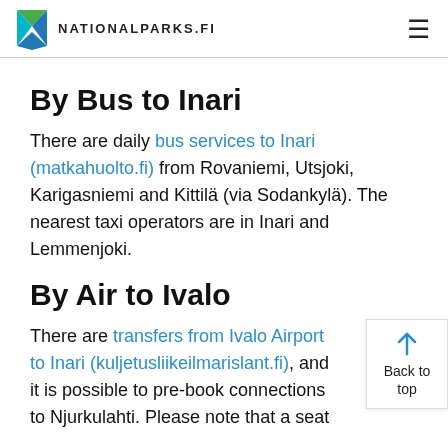NATIONALPARKS.FI
By Bus to Inari
There are daily bus services to Inari (matkahuolto.fi) from Rovaniemi, Utsjoki, Karigasniemi and Kittilä (via Sodankylä). The nearest taxi operators are in Inari and Lemmenjoki.
By Air to Ivalo
There are transfers from Ivalo Airport to Inari (kuljetusliikeilmarislant.fi), and it is possible to pre-book connections to Njurkulahti. Please note that a seat